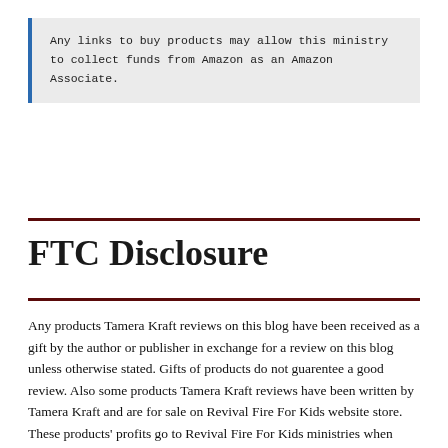Any links to buy products may allow this ministry to collect funds from Amazon as an Amazon Associate.
FTC Disclosure
Any products Tamera Kraft reviews on this blog have been received as a gift by the author or publisher in exchange for a review on this blog unless otherwise stated. Gifts of products do not guarentee a good review. Also some products Tamera Kraft reviews have been written by Tamera Kraft and are for sale on Revival Fire For Kids website store. These products' profits go to Revival Fire For Kids ministries when sold. Any links or resources listed may profit Revival Fire For Kids. If you